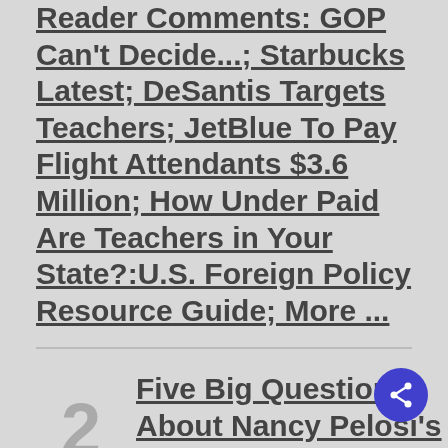Reader Comments: GOP Can't Decide...; Starbucks Latest; DeSantis Targets Teachers; JetBlue To Pay Flight Attendants $3.6 Million; How Under Paid Are Teachers in Your State?:U.S. Foreign Policy Resource Guide; More ...
Five Big Questions About Nancy Pelosi's Taiwan Visit
Top Economists Hail Chilean Constitution As (New Global Standard)